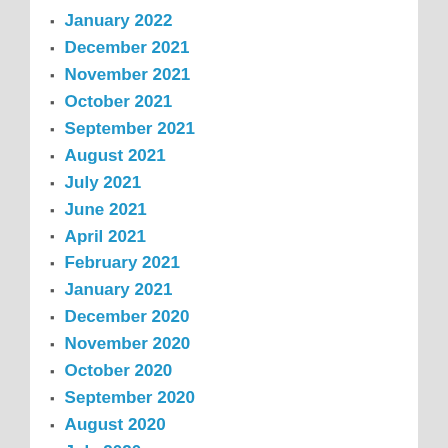January 2022
December 2021
November 2021
October 2021
September 2021
August 2021
July 2021
June 2021
April 2021
February 2021
January 2021
December 2020
November 2020
October 2020
September 2020
August 2020
July 2020
June 2020
March 2020
January 2020
December 2019